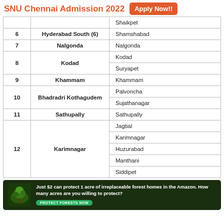SNU Chennai Admission 2022  Apply Now!!
|  |  |  |
| --- | --- | --- |
|  |  | Shaikpet |
| 6 | Hyderabad South (6) | Shamshabad |
| 7 | Nalgonda | Nalgonda |
| 8 | Kodad | Kodad |
| 8 | Kodad | Suryapet |
| 9 | Khammam | Khammam |
| 10 | Bhadradri Kothagudem | Palvoncha |
| 10 | Bhadradri Kothagudem | Sujathanagar |
| 11 | Sathupally | Sathupally |
| 12 | Karimnagar | Jagtial |
| 12 | Karimnagar | Karimnagar |
| 12 | Karimnagar | Huzurabad |
| 12 | Karimnagar | Manthani |
| 12 | Karimnagar | Siddipet |
[Figure (infographic): Ad banner: forest conservation. Text: 'Just $2 can protect 1 acre of irreplaceable forest homes in the Amazon. How many acres are you willing to protect?' with a green PROTECT FORESTS NOW button.]